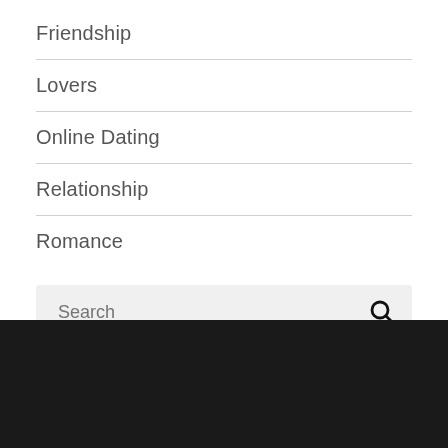Friendship
Lovers
Online Dating
Relationship
Romance
[Figure (other): Search input box with placeholder text 'Search' and a magnifying glass icon button]